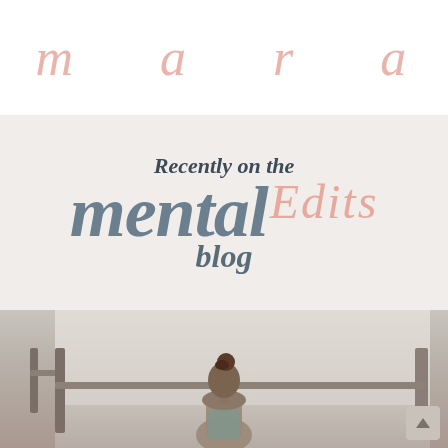a m a r a
[Figure (illustration): Blog branding section with text 'Recently on the mental Edits blog' on a light beige background. 'mental' in large bold slate-gray italic serif, 'Edits' in pink cursive script overlay.]
[Figure (photo): Photo of a woman seen from behind with hair in a bun, standing at a railing overlooking a bright sky. Warm toned image with muted grays and browns.]